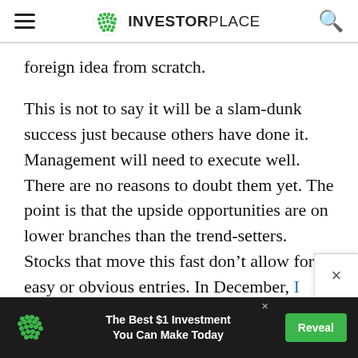INVESTORPLACE
foreign idea from scratch.
This is not to say it will be a slam-dunk success just because others have done it. Management will need to execute well. There are no reasons to doubt them yet. The point is that the upside opportunities are on lower branches than the trend-setters. Stocks that move this fast don’t allow for easy or obvious entries. In December, I shared the upside opportunity and it played out well. This dip could be its second coming.
[Figure (screenshot): Advertisement banner at bottom: InvestorPlace logo, text 'The Best $1 Investment You Can Make Today', green 'Reveal' button]